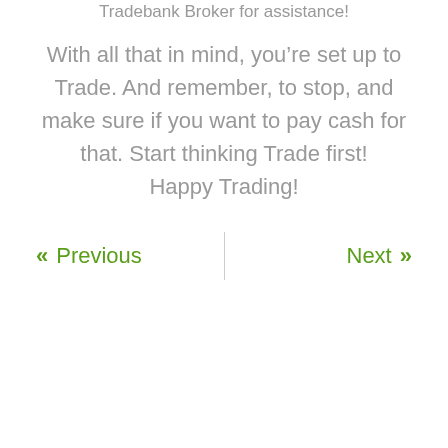Tradebank Broker for assistance!
With all that in mind, you’re set up to Trade. And remember, to stop, and make sure if you want to pay cash for that. Start thinking Trade first! Happy Trading!
<< Previous | Next >>